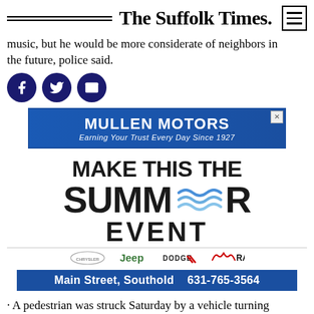The Suffolk Times.
music, but he would be more considerate of neighbors in the future, police said.
[Figure (other): Social media share icons: Facebook, Twitter, Email]
[Figure (other): Advertisement: Mullen Motors — Earning Your Trust Every Day Since 1927]
[Figure (other): Advertisement: Make This The Summer Event — Chrysler Jeep Dodge RAM dealership. Main Street, Southold 631-765-3564]
· A pedestrian was struck Saturday by a vehicle turning from Front Street onto Third Street in Greenport around